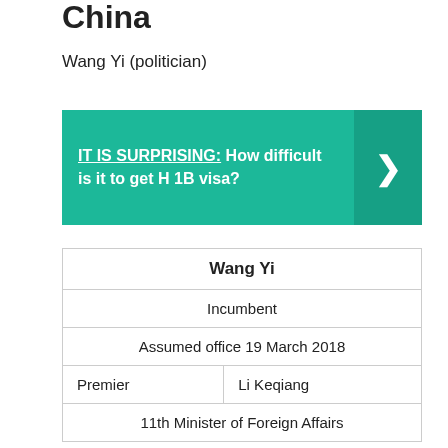China
Wang Yi (politician)
[Figure (infographic): Teal banner advertisement: 'IT IS SURPRISING: How difficult is it to get H 1B visa?' with a right-arrow button on the right side.]
| Wang Yi |
| --- |
| Incumbent |
| Assumed office 19 March 2018 |
| Premier | Li Keqiang |
| 11th Minister of Foreign Affairs |